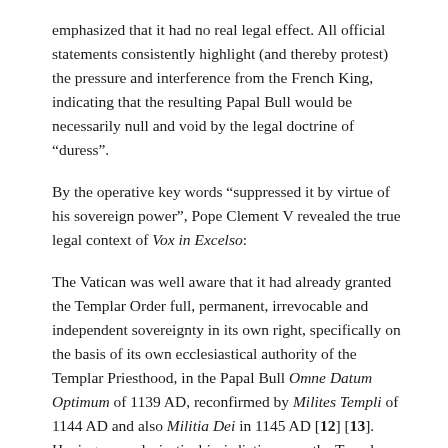emphasized that it had no real legal effect. All official statements consistently highlight (and thereby protest) the pressure and interference from the French King, indicating that the resulting Papal Bull would be necessarily null and void by the legal doctrine of “duress”.
By the operative key words “suppressed it by virtue of his sovereign power”, Pope Clement V revealed the true legal context of Vox in Excelso:
The Vatican was well aware that it had already granted the Templar Order full, permanent, irrevocable and independent sovereignty in its own right, specifically on the basis of its own ecclesiastical authority of the Templar Priesthood, in the Papal Bull Omne Datum Optimum of 1139 AD, reconfirmed by Milites Templi of 1144 AD and also Militia Dei in 1145 AD [12] [13]. Having no ecclesiastical jurisdiction over the Templar